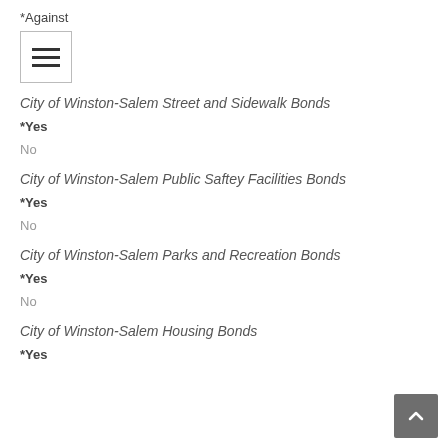*Against
[Figure (other): Hamburger menu icon with three horizontal lines]
City of Winston-Salem Street and Sidewalk Bonds
*Yes
No
City of Winston-Salem Public Saftey Facilities Bonds
*Yes
No
City of Winston-Salem Parks and Recreation Bonds
*Yes
No
City of Winston-Salem Housing Bonds
*Yes